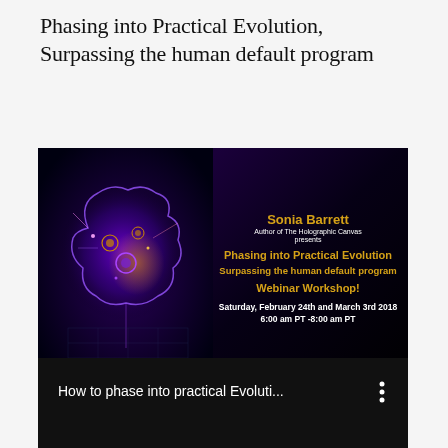Phasing into Practical Evolution, Surpassing the human default program
[Figure (infographic): Dark promotional banner for a webinar workshop. Features a glowing brain illustration on the left side with purple/gold neon effects on black background. Right side has event text: 'Sonia Barrett, Author of The Holographic Canvas presents, Phasing into Practical Evolution, Surpassing the human default program, Webinar Workshop!, Saturday, February 24th and March 3rd 2018, 6:00 am PT -8:00 am PT'. Gold footer strip with registration info.]
Cost $90 Early bird $75 Exp. 02/10/18  (Download of workshop included)
Register: therealsoniabarrett.com/events/workshops or Call 818-899-1133
[Figure (screenshot): Black video thumbnail with white text reading 'How to phase into practical Evoluti...' and a vertical three-dot menu icon on the right.]